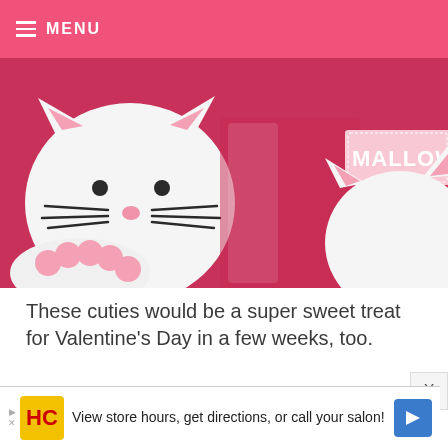MENU
[Figure (photo): Cat-shaped marshmallow candy treats in white with pink accents, shown in clear plastic packaging with a pink label reading 'MALLOW']
These cuties would be a super sweet treat for Valentine’s Day in a few weeks, too.
Enjoy!
[Figure (infographic): Social sharing buttons: Facebook (dark blue), Twitter (light blue), Pinterest (red), Email (green)]
View store hours, get directions, or call your salon!